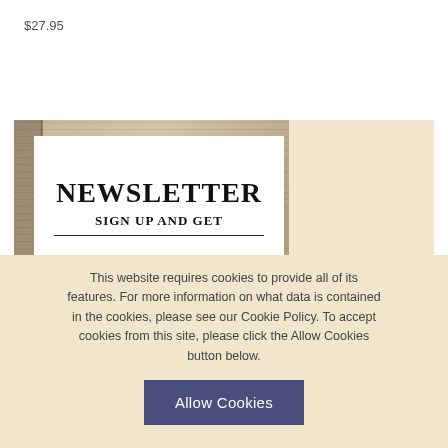$27.95
[Figure (illustration): Newsletter sign-up promotional banner showing a newspaper background image with a white card overlay reading 'NEWSLETTER SIGN UP AND GET 30% OFF!' alongside a beige/cream colored right panel]
This website requires cookies to provide all of its features. For more information on what data is contained in the cookies, please see our Cookie Policy. To accept cookies from this site, please click the Allow Cookies button below.
Allow Cookies